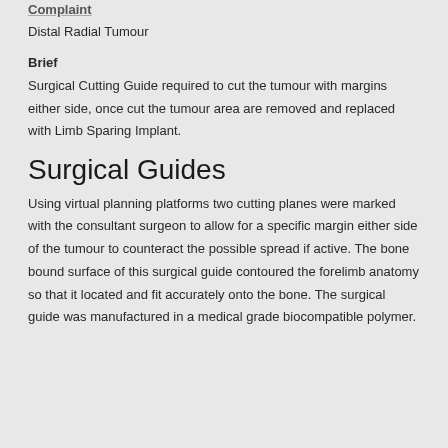Complaint
Distal Radial Tumour
Brief
Surgical Cutting Guide required to cut the tumour with margins either side, once cut the tumour area are removed and replaced with Limb Sparing Implant.
Surgical Guides
Using virtual planning platforms two cutting planes were marked with the consultant surgeon to allow for a specific margin either side of the tumour to counteract the possible spread if active. The bone bound surface of this surgical guide contoured the forelimb anatomy so that it located and fit accurately onto the bone. The surgical guide was manufactured in a medical grade biocompatible polymer.